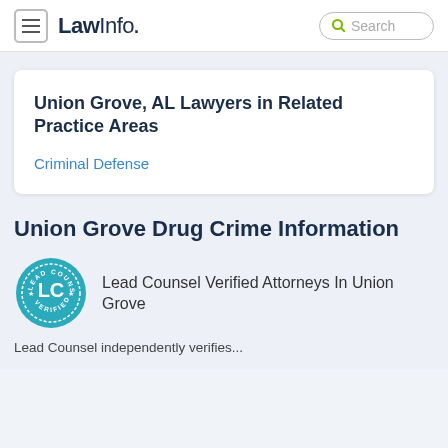LawInfo. Search
Union Grove, AL Lawyers in Related Practice Areas
Criminal Defense
Union Grove Drug Crime Information
[Figure (logo): Lead Counsel Verified badge — teal circular seal with 'LEAD COUNSEL' at top, 'LC' in center, 'VERIFIED' at bottom, with stars]
Lead Counsel Verified Attorneys In Union Grove